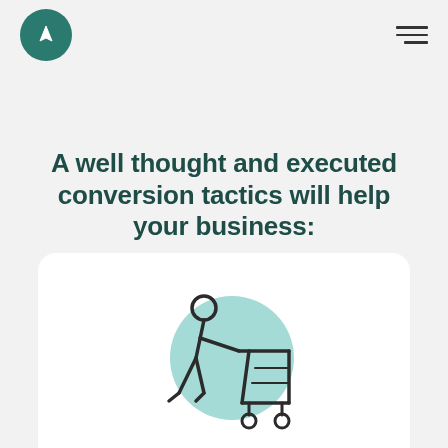Logo and navigation
A well thought and executed conversion tactics will help your business:
[Figure (illustration): Person pushing a shopping cart icon with a teal circle background, inside a white rounded card at the bottom of the page]